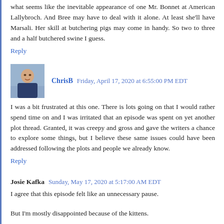what seems like the inevitable appearance of one Mr. Bonnet at American Lallybroch. And Bree may have to deal with it alone. At least she'll have Marsali. Her skill at butchering pigs may come in handy. So two to three and a half butchered swine I guess.
Reply
ChrisB  Friday, April 17, 2020 at 6:55:00 PM EDT
I was a bit frustrated at this one. There is lots going on that I would rather spend time on and I was irritated that an episode was spent on yet another plot thread. Granted, it was creepy and gross and gave the writers a chance to explore some things, but I believe these same issues could have been addressed following the plots and people we already know.
Reply
Josie Kafka  Sunday, May 17, 2020 at 5:17:00 AM EDT
I agree that this episode felt like an unnecessary pause.
But I'm mostly disappointed because of the kittens.